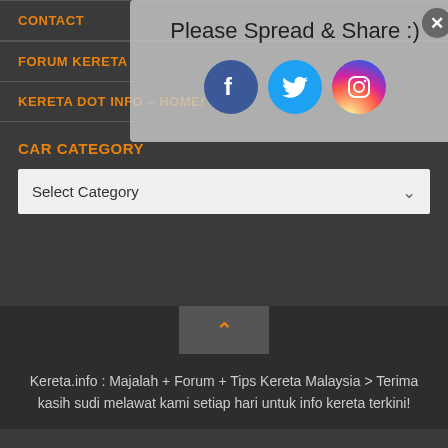CONTACT
[Figure (infographic): Share overlay with text 'Please Spread & Share :)' and three social media icons: Facebook, Twitter, Instagram, with a close (X) button]
FORUM KERETA
KERETA DOT INFO – HOME!
CAR CATEGORY
Select Category
Kereta.info : Majalah + Forum + Tips Kereta Malaysia > Terima kasih sudi melawat kami setiap hari untuk info kereta terkini!